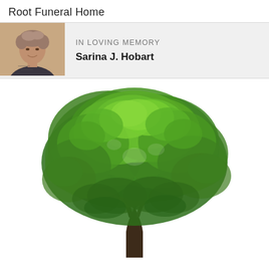Root Funeral Home
[Figure (photo): Portrait photo of Sarina J. Hobart, an older woman with short curly hair, smiling, wearing a patterned dark top]
IN LOVING MEMORY
Sarina J. Hobart
[Figure (photo): Large green deciduous tree with full canopy on white background, photographic cutout image]